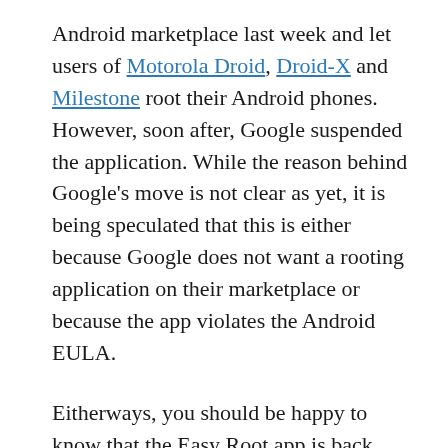Android marketplace last week and let users of Motorola Droid, Droid-X and Milestone root their Android phones. However, soon after, Google suspended the application. While the reason behind Google's move is not clear as yet, it is being speculated that this is either because Google does not want a rooting application on their marketplace or because the app violates the Android EULA.
Eitherways, you should be happy to know that the Easy Root app is back. Not in the marketplace though. Unstable Apps – the developer behind the Easy Root application has announced that the application can now be purchased directly via Paypal at a price of